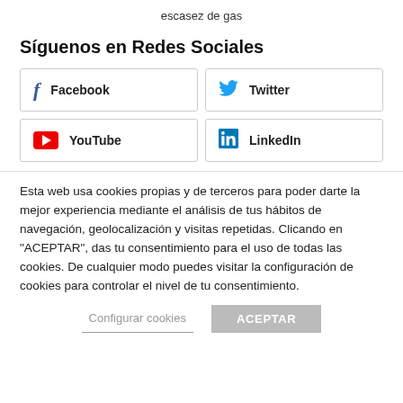escasez de gas
Síguenos en Redes Sociales
[Figure (infographic): Social media buttons: Facebook, Twitter, YouTube, LinkedIn]
Esta web usa cookies propias y de terceros para poder darte la mejor experiencia mediante el análisis de tus hábitos de navegación, geolocalización y visitas repetidas. Clicando en "ACEPTAR", das tu consentimiento para el uso de todas las cookies. De cualquier modo puedes visitar la configuración de cookies para controlar el nivel de tu consentimiento.
Configurar cookies   ACEPTAR